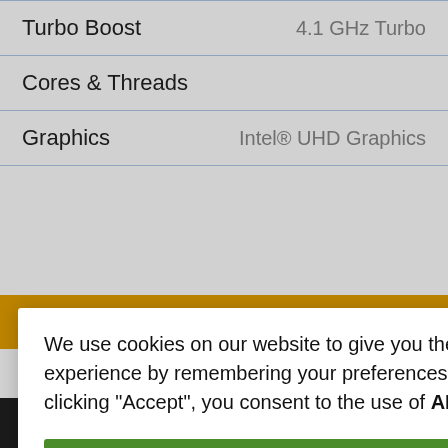| Feature | Value |
| --- | --- |
| Turbo Boost | 4.1 GHz Turbo |
| Cores & Threads |  |
| Graphics | Intel® UHD Graphics |
— NO orders shall
ooth v5,
antennas,
19-V
,000 Mbps
160
2.0a port and
ort 1.2 via
bolt™ 3 /
We use cookies on our website to give you the most relevant experience by remembering your preferences and repeat visits. By clicking "Accept", you consent to the use of ALL the cookies.
← ℹ ⚙ ▼ ▦ ✕ ×